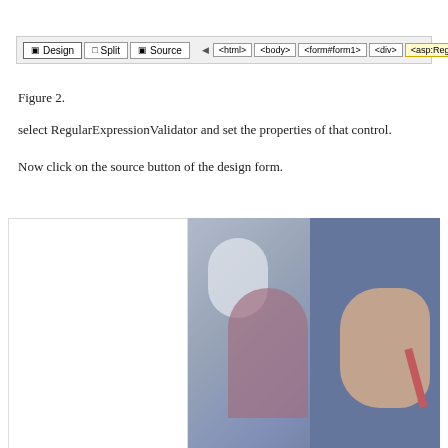[Figure (screenshot): Visual Studio design toolbar showing Design, Split, Source tabs and breadcrumb navigation: html > body > form#form1 > div > asp:RegularExpressionVal...]
Figure 2.
select RegularExpressionValidator and set the properties of that control.
Now click on the source button of the design form.
[Figure (screenshot): Split view screenshot showing blank left panel (design canvas) and right panel with a photo of a technician in blue jacket holding red wire, with a woman in background in an office/lab setting.]